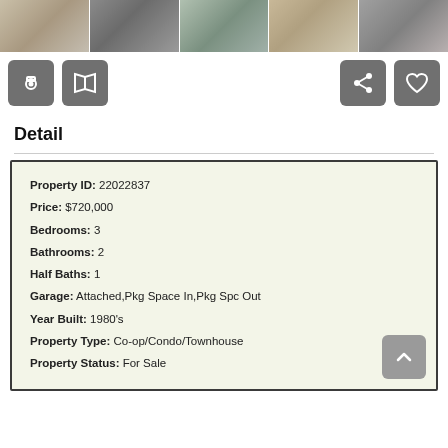[Figure (photo): Strip of 5 property interior photos at top of page]
[Figure (infographic): Row of icon buttons: camera, map, share, heart/favorite]
Detail
| Field | Value |
| --- | --- |
| Property ID: | 22022837 |
| Price: | $720,000 |
| Bedrooms: | 3 |
| Bathrooms: | 2 |
| Half Baths: | 1 |
| Garage: | Attached,Pkg Space In,Pkg Spc Out |
| Year Built: | 1980's |
| Property Type: | Co-op/Condo/Townhouse |
| Property Status: | For Sale |